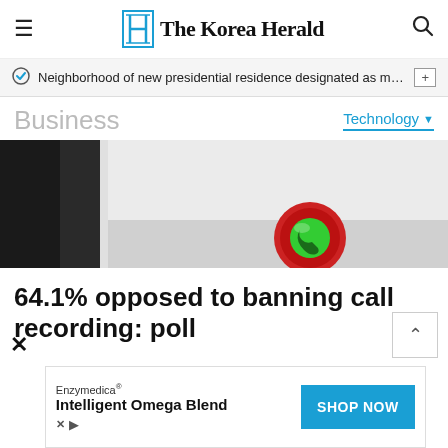The Korea Herald
Neighborhood of new presidential residence designated as milita…
Business
Technology ▼
[Figure (photo): Close-up photo of a smartphone showing a call recording button — a red circle with a green phone/record icon]
64.1% opposed to banning call recording: poll
Enzymedica® Intelligent Omega Blend
SHOP NOW